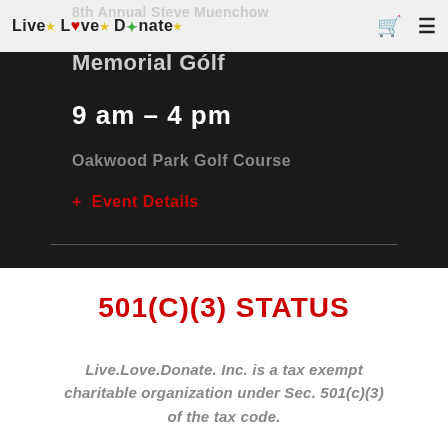Live. Love. Donate.
8th Annual Steve Muenchow Memorial Golf
9 am – 4 pm
Oakwood Park Golf Course
+ Event Details
501(c)(3) STATUS
Live.Love.Donate. Inc. is a tax exempt charitable organization under Sec. 501(c)(3) of the tax code.